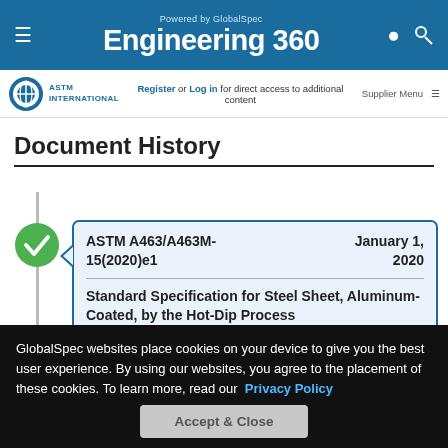Engineering 360 - Powered by GlobalSpec
Register or Log in for direct access to additional content | Supplier Menu
Document History
ASTM A463/A463M-15(2020)e1 | January 1, 2020
Standard Specification for Steel Sheet, Aluminum-Coated, by the Hot-Dip Process
GlobalSpec websites place cookies on your device to give you the best user experience. By using our websites, you agree to the placement of these cookies. To learn more, read our Privacy Policy
Accept & Close